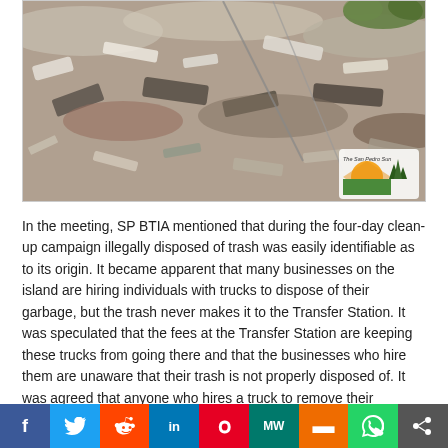[Figure (photo): Aerial or close-up view of a large illegal trash dump site with mixed debris, plastics, and waste materials. The San Pedro Sun logo is visible in the bottom right corner of the photo.]
In the meeting, SP BTIA mentioned that during the four-day clean-up campaign illegally disposed of trash was easily identifiable as to its origin. It became apparent that many businesses on the island are hiring individuals with trucks to dispose of their garbage, but the trash never makes it to the Transfer Station. It was speculated that the fees at the Transfer Station are keeping these trucks from going there and that the businesses who hire them are unaware that their trash is not properly disposed of. It was agreed that anyone who hires a truck to remove their garbage should ask that a receipt from the Transfer Station be presented before paying for the hauling service. This easy request can quickly put an end to such illegal dumping. Mayor Guerrero also confirmed that all Town Council trucks would exclusively use the Transfer Station as well. Enforcement of the NO DUMPING fine was another point of discussion, and Guerrero informed that ticket books were on order and that they were in the process of gazetting town council individuals who will be authorized to issue these tickets, and that Traffic Officers will li...